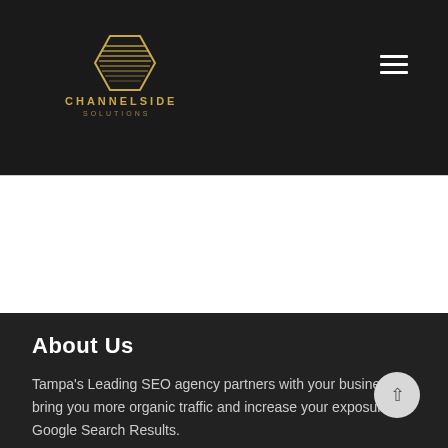[Figure (logo): Channelside Solutions logo: golden hexagon with stacked horizontal lines inside, text CHANNELSIDE in gold uppercase letters, SOLUTIONS in smaller gold letters below]
NEXT →
About Us
Tampa's Leading SEO agency partners with your business to bring you more organic traffic and increase your exposure on Google Search Results.